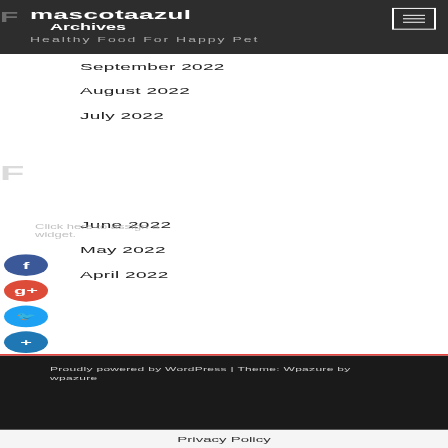mascotaazul | Archives | Healthy Food For Happy Pet
Click here to assign a widget.
September 2022
August 2022
July 2022
June 2022
May 2022
April 2022
Click here to assign a widget.
Proudly powered by WordPress | Theme: Wpazure by wpazure
Privacy Policy